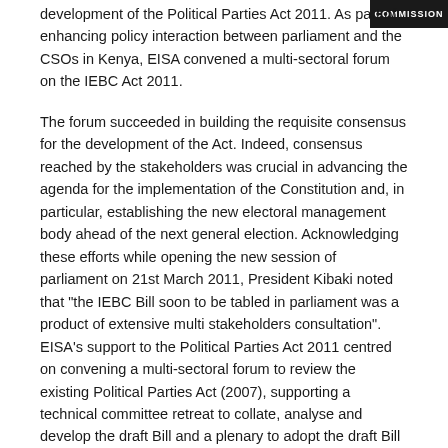[Figure (photo): Partial image of IEBC/Commission sign or banner, showing text 'COMMISSION' in white on dark background]
development of the Political Parties Act 2011. As part of enhancing policy interaction between parliament and the CSOs in Kenya, EISA convened a multi-sectoral forum on the IEBC Act 2011.
The forum succeeded in building the requisite consensus for the development of the Act. Indeed, consensus reached by the stakeholders was crucial in advancing the agenda for the implementation of the Constitution and, in particular, establishing the new electoral management body ahead of the next general election. Acknowledging these efforts while opening the new session of parliament on 21st March 2011, President Kibaki noted that "the IEBC Bill soon to be tabled in parliament was a product of extensive multi stakeholders consultation". EISA's support to the Political Parties Act 2011 centred on convening a multi-sectoral forum to review the existing Political Parties Act (2007), supporting a technical committee retreat to collate, analyse and develop the draft Bill and a plenary to adopt the draft Bill (now PPA 2011).
CSOs Consultative Forum
EISA convened a planning and strategic review meeting for key civil societies in Kenya working in the field of governance and democracy. The meeting was aimed at reviewing the specific activities that each